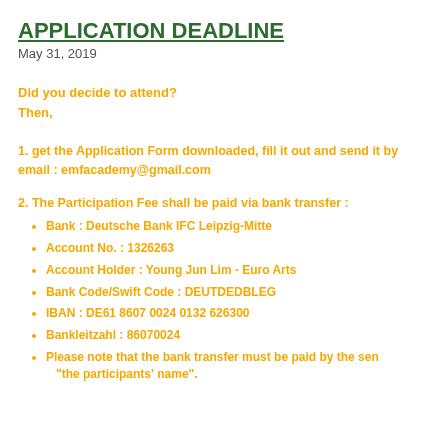APPLICATION DEADLINE
May 31, 2019
Did you decide to attend?
Then,
1. get the Application Form downloaded, fill it out and send it by email : emfacademy@gmail.com
2. The Participation Fee shall be paid via bank transfer :
Bank : Deutsche Bank IFC Leipzig-Mitte
Account No. : 1326263
Account Holder : Young Jun Lim - Euro Arts
Bank Code/Swift Code : DEUTDEDBLEG
IBAN : DE61 8607 0024 0132 626300
Bankleitzahl : 86070024
Please note that the bank transfer must be paid by the sender as "the participants' name".